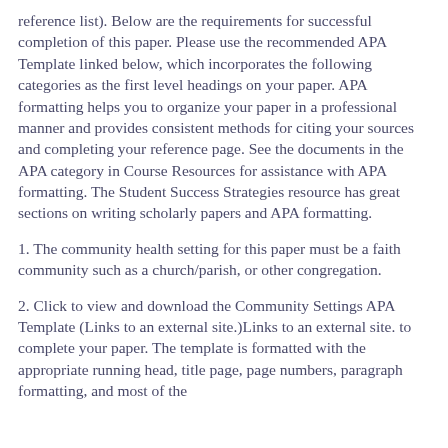reference list). Below are the requirements for successful completion of this paper. Please use the recommended APA Template linked below, which incorporates the following categories as the first level headings on your paper. APA formatting helps you to organize your paper in a professional manner and provides consistent methods for citing your sources and completing your reference page. See the documents in the APA category in Course Resources for assistance with APA formatting. The Student Success Strategies resource has great sections on writing scholarly papers and APA formatting.
1. The community health setting for this paper must be a faith community such as a church/parish, or other congregation.
2. Click to view and download the Community Settings APA Template (Links to an external site.)Links to an external site. to complete your paper. The template is formatted with the appropriate running head, title page, page numbers, paragraph formatting, and most of the